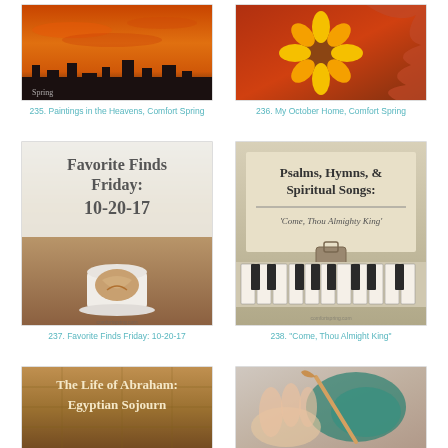[Figure (photo): Sunset photo with orange sky]
235. Paintings in the Heavens, Comfort Spring
[Figure (photo): Sunflower and fall leaves artwork]
236. My October Home, Comfort Spring
[Figure (photo): Favorite Finds Friday 10-20-17 with coffee cup image]
237. Favorite Finds Friday: 10-20-17
[Figure (photo): Piano keys with text Psalms, Hymns, & Spiritual Songs: Come, Thou Almighty King]
238. "Come, Thou Almight King"
[Figure (photo): The Life of Abraham: Egyptian Sojourn - stone texture background]
[Figure (photo): Hands crocheting with blue yarn]